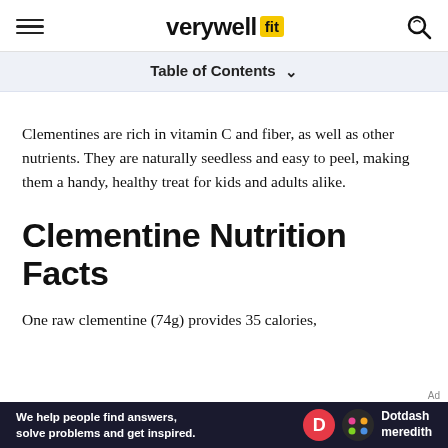verywell fit
Table of Contents
Clementines are rich in vitamin C and fiber, as well as other nutrients. They are naturally seedless and easy to peel, making them a handy, healthy treat for kids and adults alike.
Clementine Nutrition Facts
One raw clementine (74g) provides 35 calories,
[Figure (infographic): Dotdash Meredith advertisement banner: 'We help people find answers, solve problems and get inspired.' with Dotdash Meredith logo]